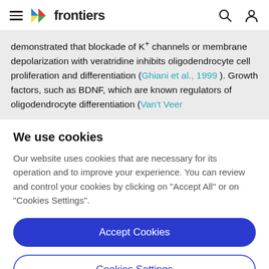frontiers
demonstrated that blockade of K+ channels or membrane depolarization with veratridine inhibits oligodendrocyte cell proliferation and differentiation (Ghiani et al., 1999). Growth factors, such as BDNF, which are known regulators of oligodendrocyte differentiation (Van't Veer
We use cookies
Our website uses cookies that are necessary for its operation and to improve your experience. You can review and control your cookies by clicking on "Accept All" or on "Cookies Settings".
Accept Cookies
Cookies Settings